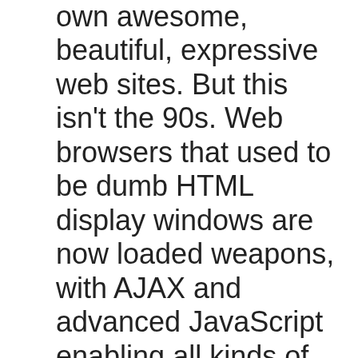own awesome, beautiful, expressive web sites. But this isn't the 90s. Web browsers that used to be dumb HTML display windows are now loaded weapons, with AJAX and advanced JavaScript enabling all kinds of nefarious craziness. Not to mention warez dumping, virus distribution, phishing attacks, DDoS attacks, comment and web